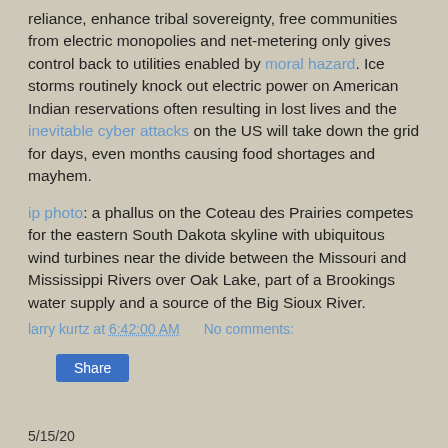reliance, enhance tribal sovereignty, free communities from electric monopolies and net-metering only gives control back to utilities enabled by moral hazard. Ice storms routinely knock out electric power on American Indian reservations often resulting in lost lives and the inevitable cyber attacks on the US will take down the grid for days, even months causing food shortages and mayhem.
ip photo: a phallus on the Coteau des Prairies competes for the eastern South Dakota skyline with ubiquitous wind turbines near the divide between the Missouri and Mississippi Rivers over Oak Lake, part of a Brookings water supply and a source of the Big Sioux River.
larry kurtz at 6:42:00 AM    No comments:
Share
5/15/20
Monopolist logs out BHNF, threatens Trump's Forest Service with closures